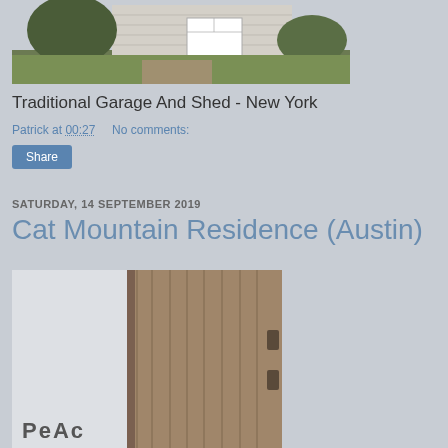[Figure (photo): Exterior photo of a traditional garage and shed with white door, green lawn and plants, New York style]
Traditional Garage And Shed - New York
Patrick at 00:27    No comments:
Share
SATURDAY, 14 SEPTEMBER 2019
Cat Mountain Residence (Austin)
[Figure (photo): Interior photo showing rustic wooden barn-style sliding doors with metal hardware, light ceiling, and partial view of a wall with text 'PEACE']